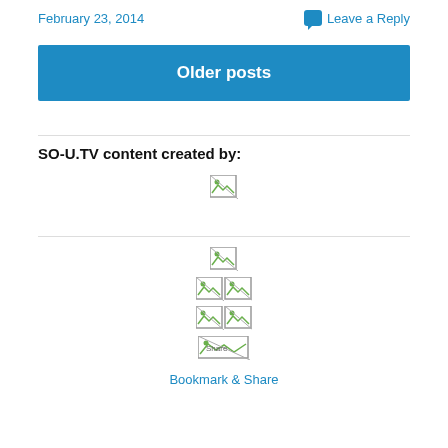February 23, 2014
Leave a Reply
Older posts
SO-U.TV content created by:
[Figure (other): Broken image placeholder (centered)]
[Figure (other): Broken image placeholder (centered)]
[Figure (other): Two broken image placeholders side by side]
[Figure (other): Two broken image placeholders side by side]
[Figure (other): Share broken image placeholder with alt text 'Share']
Bookmark & Share